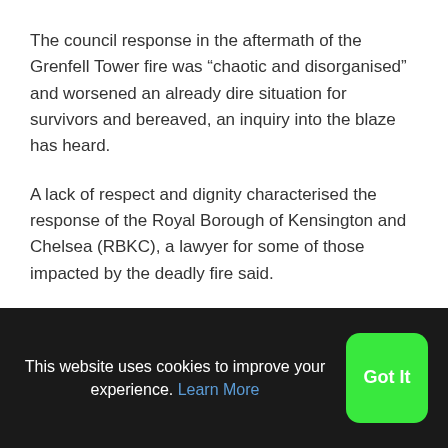The council response in the aftermath of the Grenfell Tower fire was “chaotic and disorganised” and worsened an already dire situation for survivors and bereaved, an inquiry into the blaze has heard.
A lack of respect and dignity characterised the response of the Royal Borough of Kensington and Chelsea (RBKC), a lawyer for some of those impacted by the deadly fire said.
The situation in the days after the June 2017 blaze would have been “very different indeed”
This website uses cookies to improve your experience. Learn More  Got It